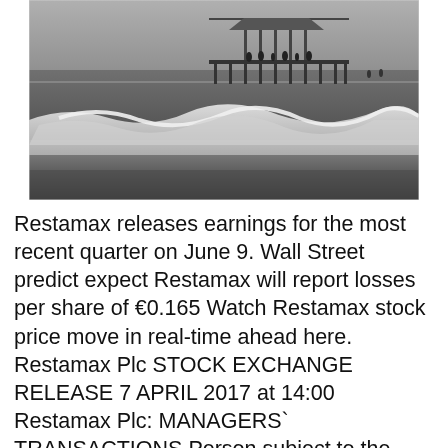[Figure (photo): Black and white photograph of ocean waves crashing on a beach with a wooden pier with a pavilion structure visible in the background against a grey sky]
Restamax releases earnings for the most recent quarter on June 9. Wall Street predict expect Restamax will report losses per share of €0.165 Watch Restamax stock price move in real-time ahead here. Restamax Plc STOCK EXCHANGE RELEASE 7 APRIL 2017 at 14:00 Restamax Plc: MANAGERS` TRANSACTIONS Person subject to the notification requirement Name: LAINE, TIMO Position: Member of the board Find the latest RESTAMAX OYJ RESTAMAX OYJ ORD S (0QI6.L) stock quote, history, news and other vital